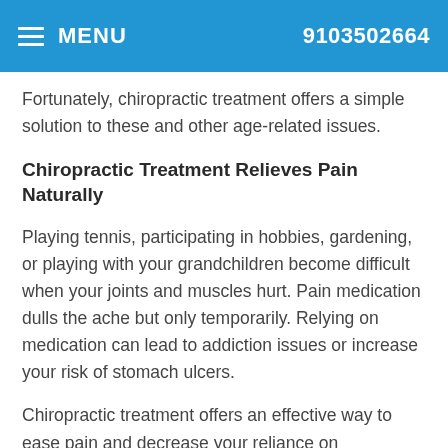MENU  9103502664
Fortunately, chiropractic treatment offers a simple solution to these and other age-related issues.
Chiropractic Treatment Relieves Pain Naturally
Playing tennis, participating in hobbies, gardening, or playing with your grandchildren become difficult when your joints and muscles hurt. Pain medication dulls the ache but only temporarily. Relying on medication can lead to addiction issues or increase your risk of stomach ulcers.
Chiropractic treatment offers an effective way to ease pain and decrease your reliance on medication. Spinal manipulation, massage, soft tissue manipulation, and other treatments relieve pain and